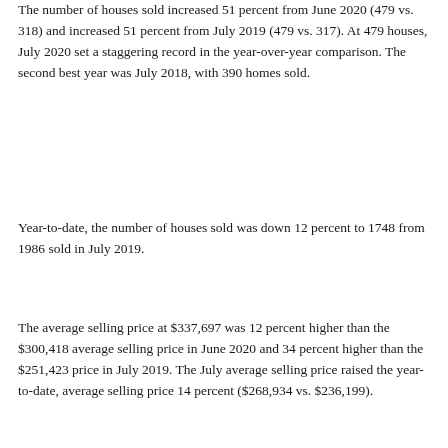The number of houses sold increased 51 percent from June 2020 (479 vs. 318) and increased 51 percent from July 2019 (479 vs. 317). At 479 houses, July 2020 set a staggering record in the year-over-year comparison. The second best year was July 2018, with 390 homes sold.
Year-to-date, the number of houses sold was down 12 percent to 1748 from 1986 sold in July 2019.
The average selling price at $337,697 was 12 percent higher than the $300,418 average selling price in June 2020 and 34 percent higher than the $251,423 price in July 2019. The July average selling price raised the year-to-date, average selling price 14 percent ($268,934 vs. $236,199).